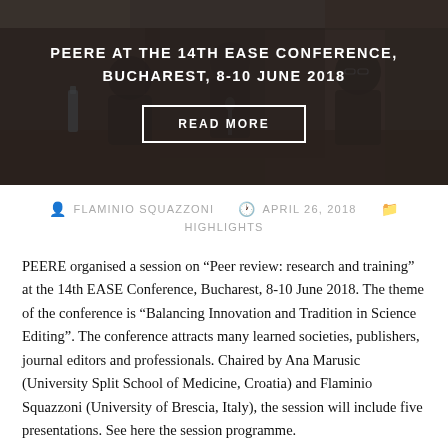[Figure (photo): Dark photo of a conference panel session with people seated at a table, overlaid with semi-transparent dark filter]
PEERE AT THE 14TH EASE CONFERENCE, BUCHAREST, 8-10 JUNE 2018
READ MORE
FLAMINIO SQUAZZONI   APRIL 26, 2018   HIGHLIGHTS
PEERE organised a session on “Peer review: research and training” at the 14th EASE Conference, Bucharest, 8-10 June 2018. The theme of the conference is “Balancing Innovation and Tradition in Science Editing”. The conference attracts many learned societies, publishers, journal editors and professionals. Chaired by Ana Marusic (University Split School of Medicine, Croatia) and Flaminio Squazzoni (University of Brescia, Italy), the session will include five presentations. See here the session programme.